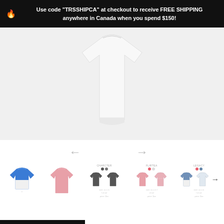Use code "TRSSHIPCA" at checkout to receive FREE SHIPPING anywhere in Canada when you spend $150!
[Figure (photo): White sports shirt/jersey displayed on a light grey background, cropped to show the torso portion]
[Figure (other): Navigation arrows (left and right) for a product image carousel]
[Figure (other): Product thumbnail carousel showing 5 sports shirt styles: one blue/white, one pink, one charcoal grey pair, one pink pair, one blue/white pair with navigation arrow]